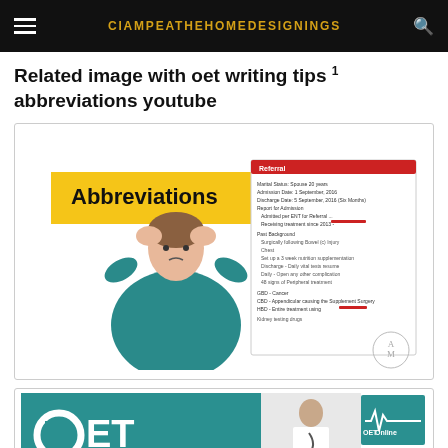CIAMPEATHEHOMEDESIGNINGS
Related image with oet writing tips abbreviations youtube
[Figure (screenshot): Screenshot of OET abbreviations educational image showing a nurse with hands on head wearing teal scrubs, with 'Abbreviations' text in yellow banner and a medical referral letter document with red corrections]
[Figure (screenshot): Screenshot of OET Online promotional image with teal background showing 'OET' logo, a doctor in white coat, OET Online logo with heartbeat line, and yellow arrow button]